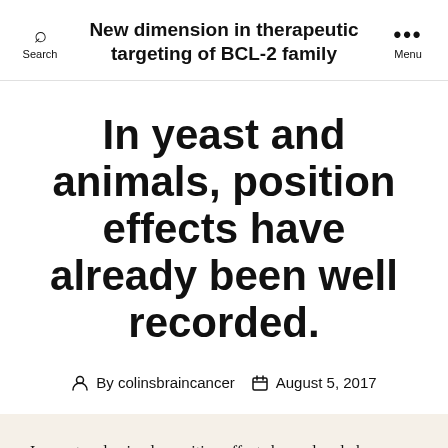New dimension in therapeutic targeting of BCL-2 family
In yeast and animals, position effects have already been well recorded.
By colinsbraincancer  August 5, 2017
In yeast and animals, position effects have already been